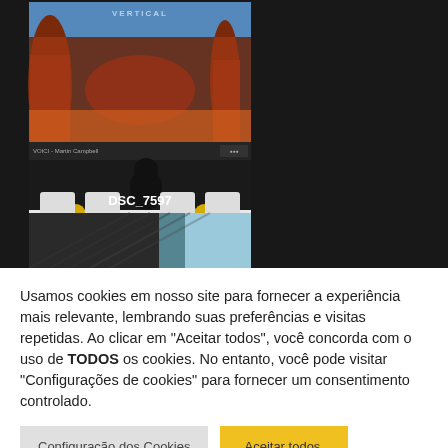[Figure (photo): Screenshot of a media gallery page with dark background showing two photos: top photo is a landscape/conference scene with red rock formations visible on a presentation screen and a speaker panel below; bottom photo is partially visible showing a dark textured surface with blue gradient. Filename label 'DSC_7597' appears between the two photos.]
DSC_7597
Usamos cookies em nosso site para fornecer a experiência mais relevante, lembrando suas preferências e visitas repetidas. Ao clicar em "Aceitar todos", você concorda com o uso de TODOS os cookies. No entanto, você pode visitar "Configurações de cookies" para fornecer um consentimento controlado.
Configuração dos Cookies
Aceitar todos.